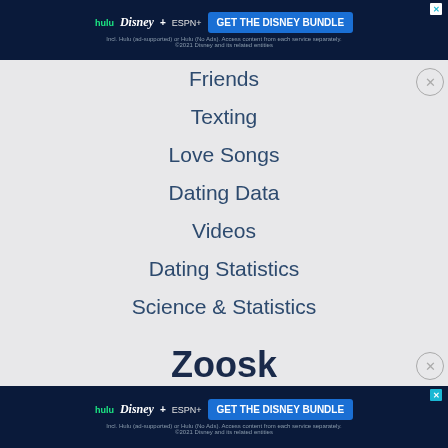[Figure (screenshot): Disney Bundle advertisement banner at top of page showing Hulu, Disney+, ESPN+ logos and 'GET THE DISNEY BUNDLE' button]
Friends
Texting
Love Songs
Dating Data
Videos
Dating Statistics
Science & Statistics
Zoosk
Start Dating
[Figure (screenshot): Disney Bundle advertisement banner at bottom of page showing Hulu, Disney+, ESPN+ logos and 'GET THE DISNEY BUNDLE' button]